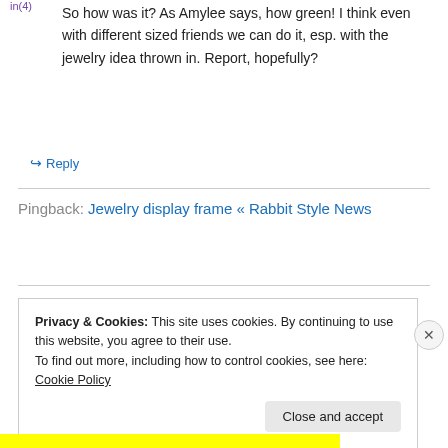So how was it? As Amylee says, how green! I think even with different sized friends we can do it, esp. with the jewelry idea thrown in. Report, hopefully?
↪ Reply
Pingback: Jewelry display frame « Rabbit Style News
Privacy & Cookies: This site uses cookies. By continuing to use this website, you agree to their use.
To find out more, including how to control cookies, see here: Cookie Policy
Close and accept